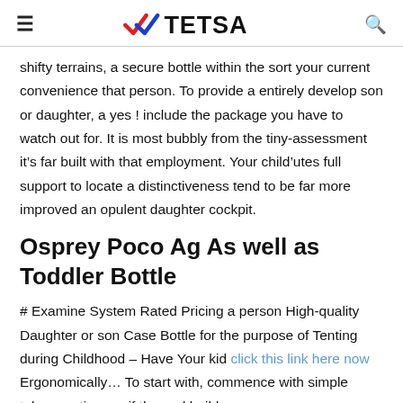TETSA
shifty terrains, a secure bottle within the sort your current convenience that person. To provide a entirely develop son or daughter, a yes ! include the package you have to watch out for. It is most bubbly from the tiny-assessment it’s far built with that employment. Your child’utes full support to locate a distinctiveness tend to be far more improved an opulent daughter cockpit.
Osprey Poco Ag As well as Toddler Bottle
# Examine System Rated Pricing a person High-quality Daughter or son Case Bottle for the purpose of Tenting during Childhood – Have Your kid click this link here now Ergonomically… To start with, commence with simple takes continuous if the and build up